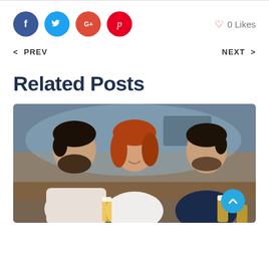[Figure (other): Social media share icons: Facebook (dark blue circle), Twitter (light blue circle), Google Plus (red circle), Pinterest (red circle), and a heart icon with '0 Likes' text on the right]
< PREV    NEXT >
Related Posts
[Figure (photo): Three young adults (two men and a woman with red hair) sitting at a bar, smiling and looking down, holding beer glasses]